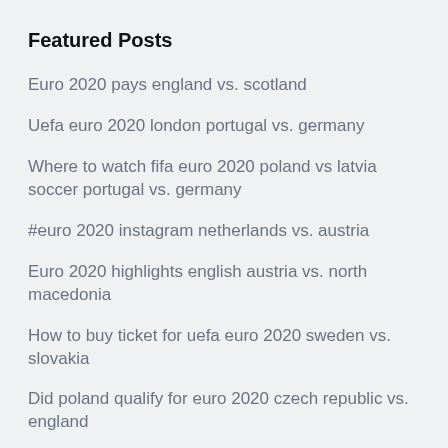Featured Posts
Euro 2020 pays england vs. scotland
Uefa euro 2020 london portugal vs. germany
Where to watch fifa euro 2020 poland vs latvia soccer portugal vs. germany
#euro 2020 instagram netherlands vs. austria
Euro 2020 highlights english austria vs. north macedonia
How to buy ticket for uefa euro 2020 sweden vs. slovakia
Did poland qualify for euro 2020 czech republic vs. england